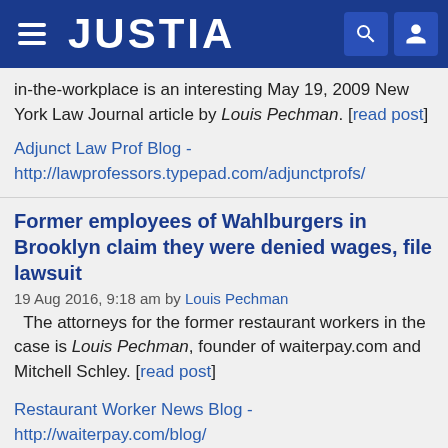JUSTIA
in-the-workplace is an interesting May 19, 2009 New York Law Journal article by Louis Pechman. [read post]
Adjunct Law Prof Blog - http://lawprofessors.typepad.com/adjunctprofs/
Former employees of Wahlburgers in Brooklyn claim they were denied wages, file lawsuit
19 Aug 2016, 9:18 am by Louis Pechman
The attorneys for the former restaurant workers in the case is Louis Pechman, founder of waiterpay.com and Mitchell Schley. [read post]
Restaurant Worker News Blog - http://waiterpay.com/blog/